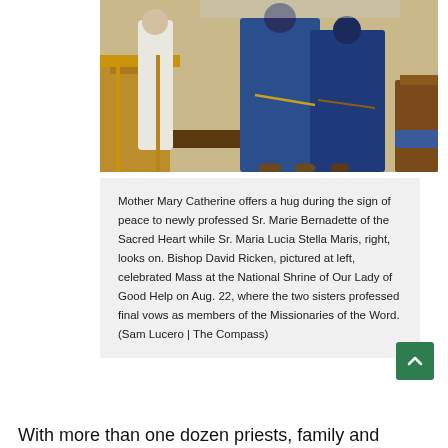[Figure (photo): Photo of nuns in blue habits in a church during Mass, with a figure in white robes visible at left near wooden pews]
Mother Mary Catherine offers a hug during the sign of peace to newly professed Sr. Marie Bernadette of the Sacred Heart while Sr. Maria Lucia Stella Maris, right, looks on. Bishop David Ricken, pictured at left, celebrated Mass at the National Shrine of Our Lady of Good Help on Aug. 22, where the two sisters professed final vows as members of the Missionaries of the Word. (Sam Lucero | The Compass)
With more than one dozen priests, family and